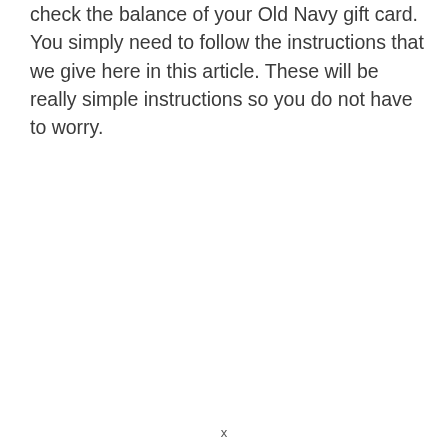check the balance of your Old Navy gift card. You simply need to follow the instructions that we give here in this article. These will be really simple instructions so you do not have to worry.
x